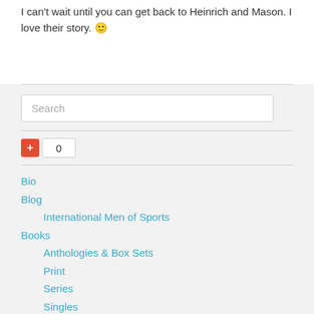I can't wait until you can get back to Heinrich and Mason. I love their story. 🙂
[Figure (screenshot): Search input box with placeholder text 'Search']
[Figure (other): Red plus button with count box showing 0]
Bio
Blog
International Men of Sports
Books
Anthologies & Box Sets
Print
Series
Singles
Tiffany Aaron
Young Adult
Contact T.A.